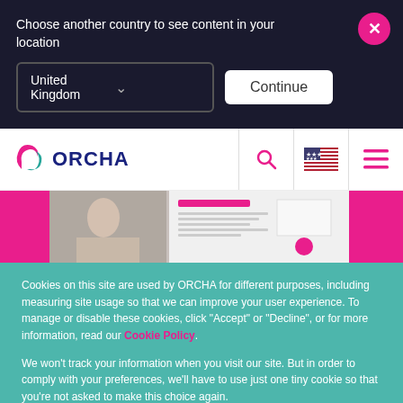Choose another country to see content in your location
United Kingdom
Continue
[Figure (logo): ORCHA logo with pink and teal leaf icon and dark blue ORCHA wordmark]
[Figure (screenshot): Hero banner with woman and document imagery, pink accent blocks]
Cookies on this site are used by ORCHA for different purposes, including measuring site usage so that we can improve your user experience. To manage or disable these cookies, click "Accept" or "Decline", or for more information, read our Cookie Policy.
We won't track your information when you visit our site. But in order to comply with your preferences, we'll have to use just one tiny cookie so that you're not asked to make this choice again.
Accept
Decline